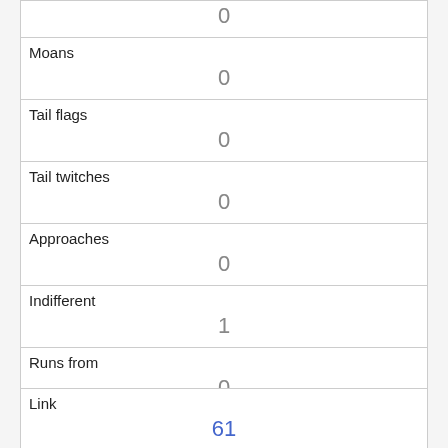|  | 0 |
| Moans | 0 |
| Tail flags | 0 |
| Tail twitches | 0 |
| Approaches | 0 |
| Indifferent | 1 |
| Runs from | 0 |
| Other Interactions |  |
| Lat/Long | POINT (-73.9684910712272 40.7768811640021) |
| Link | 61 |